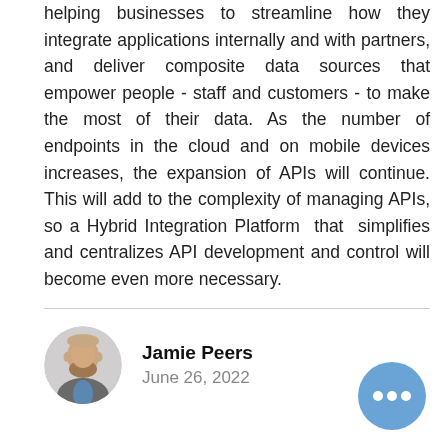helping businesses to streamline how they integrate applications internally and with partners, and deliver composite data sources that empower people - staff and customers - to make the most of their data. As the number of endpoints in the cloud and on mobile devices increases, the expansion of APIs will continue. This will add to the complexity of managing APIs, so a Hybrid Integration Platform that simplifies and centralizes API development and control will become even more necessary.
[Figure (photo): Circular avatar photo of author Jamie Peers, a bald man with a beard wearing a grey jacket and blue shirt]
Jamie Peers
June 26, 2022
[Figure (illustration): Blue circle with three white dots (ellipsis / more options button) in the bottom right corner]